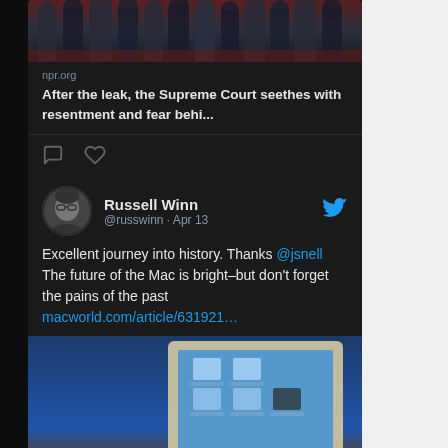[Figure (screenshot): Mobile Twitter/social media feed screenshot showing two tweet cards on a dark background. Top card shows an NPR article preview with a photo of people in formal attire, domain 'npr.org', and headline 'After the leak, the Supreme Court seethes with resentment and fear behi...' with comment and like icons. Second card shows a tweet by Russell Winn (@russwinn · Apr 13) with Twitter bird icon and avatar photo, tweet text 'Excellent journey into history. Thanks @jsnell The future of the Mac is bright–but don't forget the pains of the past macworld.com/article/631921...' with a photo of an old Mac computer screen and device.]